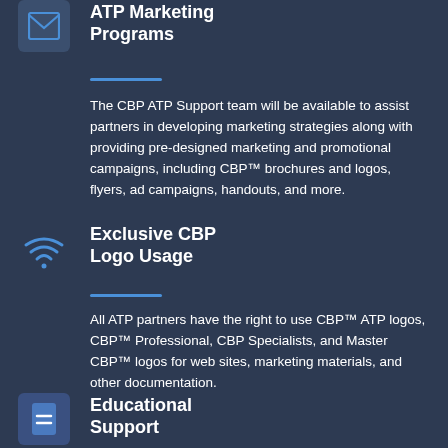[Figure (illustration): Email envelope icon in a rounded square box]
ATP Marketing Programs
The CBP ATP Support team will be available to assist partners in developing marketing strategies along with providing pre-designed marketing and promotional campaigns, including CBP™ brochures and logos, flyers, ad campaigns, handouts, and more.
[Figure (illustration): WiFi signal icon]
Exclusive CBP Logo Usage
All ATP partners have the right to use CBP™ ATP logos, CBP™ Professional, CBP Specialists, and Master CBP™ logos for web sites, marketing materials, and other documentation.
[Figure (illustration): Document/lines icon in a rounded square box]
Educational Support